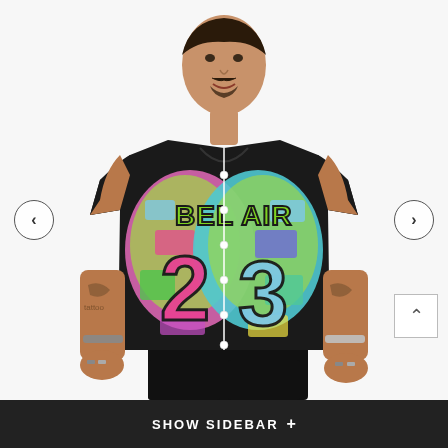[Figure (photo): A man wearing a black baseball jersey with colorful neon graphic print featuring the number 23 and 'BEL AIR' text in green graffiti letters with pink/blue/green abstract camo pattern. The jersey has white piping/trim and button-down front. He is wearing black pants and jewelry (rings, bracelet). He has tattoos on both arms. Navigation arrows (< >) are overlaid on left and right sides of the image.]
SHOW SIDEBAR  +